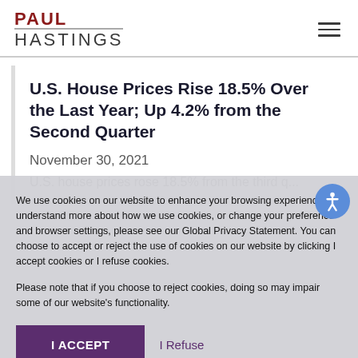PAUL HASTINGS
U.S. House Prices Rise 18.5% Over the Last Year; Up 4.2% from the Second Quarter
November 30, 2021
We use cookies on our website to enhance your browsing experience. To understand more about how we use cookies, or change your preference and browser settings, please see our Global Privacy Statement. You can choose to accept or reject the use of cookies on our website by clicking I accept cookies or I refuse cookies.

Please note that if you choose to reject cookies, doing so may impair some of our website's functionality.